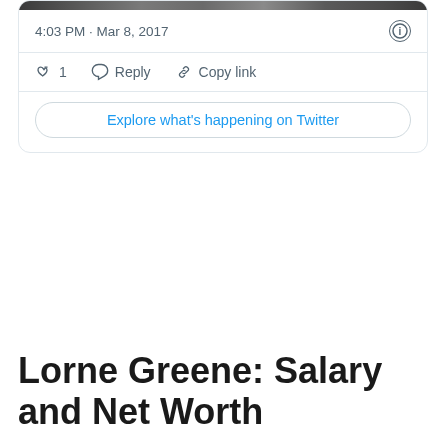[Figure (screenshot): Twitter embed card showing tweet timestamp 4:03 PM · Mar 8, 2017 with like (1), reply, and copy link actions, and an 'Explore what's happening on Twitter' CTA button]
Lorne Greene: Salary and Net Worth